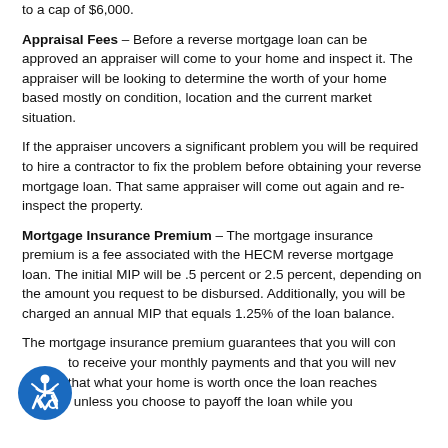to a cap of $6,000.
Appraisal Fees – Before a reverse mortgage loan can be approved an appraiser will come to your home and inspect it. The appraiser will be looking to determine the worth of your home based mostly on condition, location and the current market situation.
If the appraiser uncovers a significant problem you will be required to hire a contractor to fix the problem before obtaining your reverse mortgage loan. That same appraiser will come out again and re-inspect the property.
Mortgage Insurance Premium – The mortgage insurance premium is a fee associated with the HECM reverse mortgage loan. The initial MIP will be .5 percent or 2.5 percent, depending on the amount you request to be disbursed. Additionally, you will be charged an annual MIP that equals 1.25% of the loan balance.
The mortgage insurance premium guarantees that you will continue to receive your monthly payments and that you will never owe more that what your home is worth once the loan reaches maturity unless you choose to payoff the loan while you